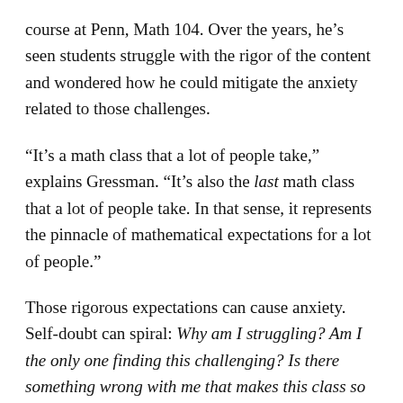course at Penn, Math 104. Over the years, he's seen students struggle with the rigor of the content and wondered how he could mitigate the anxiety related to those challenges.
“It’s a math class that a lot of people take,” explains Gressman. “It’s also the last math class that a lot of people take. In that sense, it represents the pinnacle of mathematical expectations for a lot of people.”
Those rigorous expectations can cause anxiety. Self-doubt can spiral: Why am I struggling? Am I the only one finding this challenging? Is there something wrong with me that makes this class so difficult?